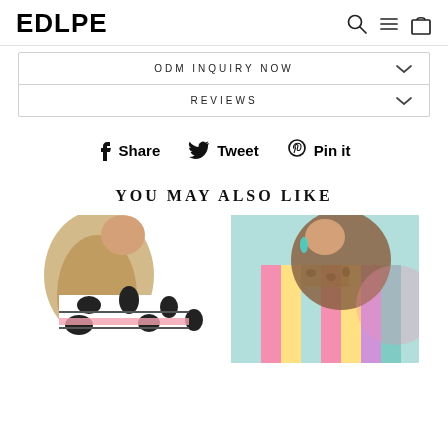EDLPE
ODM INQUIRY NOW
REVIEWS
Share  Tweet  Pin it
YOU MAY ALSO LIKE
[Figure (photo): Woman wearing black and white cow print top with pink stripe]
[Figure (photo): Woman wearing colorful striped top with leopard print accent]